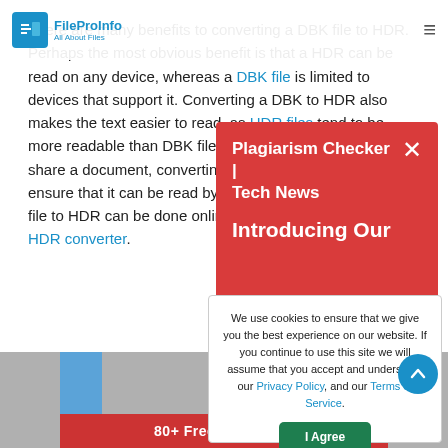FileProInfo — All About Files
There are many benefits to converting a DBK file to HDR. Perhaps the most obvious benefit is that a HDR can be read on any device, whereas a DBK file is limited to devices that support it. Converting a DBK to HDR also makes the text easier to read, as HDR files tend to be more readable than DBK files. Additionally, if you want to share a document, converting it to HDR format that will ensure that it can be read by anyone. Converting a DBK file to HDR can be done online for free by using a DBK to HDR converter.
[Figure (screenshot): Red modal popup with title 'Plagiarism Checker | Tech News' and subtitle 'Introducing Our' with close X button]
[Figure (screenshot): White cookie consent dialog: 'We use cookies to ensure that we give you the best experience on our website. If you continue to use this site we will assume that you accept and understand our Privacy Policy, and our Terms of Service.' with 'I Agree' green button]
[Figure (screenshot): Bottom image strip showing gray background with blue blocks and red banner reading '80+ Free SEO Tools']